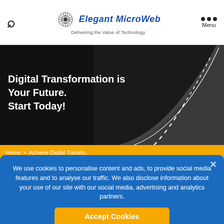Elegant MicroWeb — Delivering the Value of Technology
[Figure (photo): Hero banner with dark background and a road curving into the distance on the right side]
Digital Transformation is Your Future. Start Today!
Home > Achieve Digital Transfo...
Achieve Digital Transformation Success!
Solutions and Services for Digital Transformation
We use cookies to personalise content and ads, to provide social media features and to analyse our traffic. We also disclose information about your use of our site with our social media, advertising and analytics partners.